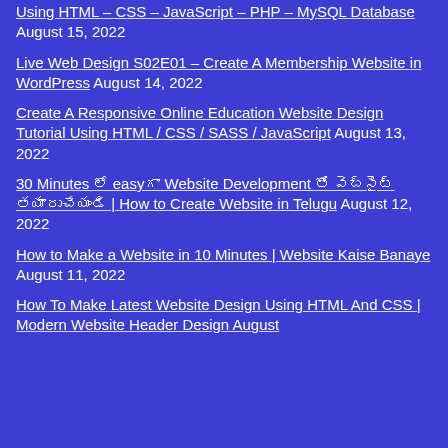Using HTML – CSS – JavaScript – PHP – MySQL Database August 15, 2022
Live Web Design S02E01 – Create A Membership Website in WordPress August 14, 2022
Create A Responsive Online Education Website Design Tutorial Using HTML / CSS / SASS / JavaScript August 13, 2022
30 Minutes లో easy గా Website Development తో వెబ్‌సైట్ తయారుచేయండి | How to Create Website in Telugu August 12, 2022
How to Make a Website in 10 Minutes | Website Kaise Banaye August 11, 2022
How To Make Latest Website Design Using HTML And CSS | Modern Website Header Design August